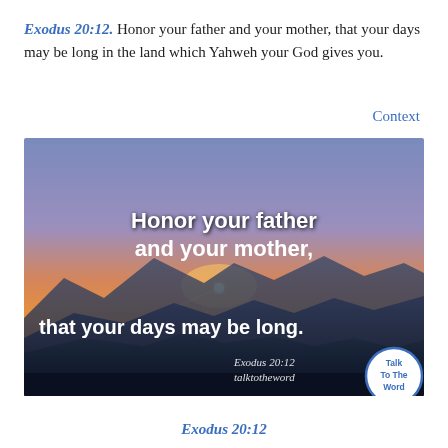Exodus 20:12. Honor your father and your mother, that your days may be long in the land which Yahweh your God gives you.
Context
[Figure (photo): Sunset over mountain silhouettes with white text overlay reading 'Honor your father and your mother, that your days may be long.' with 'Exodus 20:12' and 'talktotheword' watermark and a 'Talk To The Word' circular badge.]
Exodus 20:12